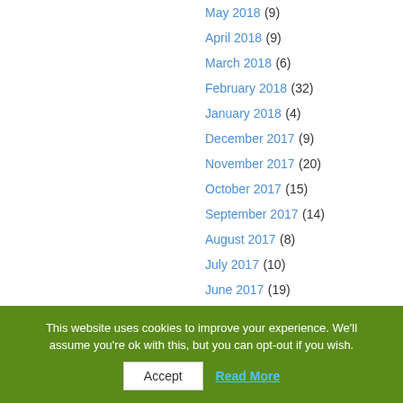May 2018 (9)
April 2018 (9)
March 2018 (6)
February 2018 (32)
January 2018 (4)
December 2017 (9)
November 2017 (20)
October 2017 (15)
September 2017 (14)
August 2017 (8)
July 2017 (10)
June 2017 (19)
This website uses cookies to improve your experience. We'll assume you're ok with this, but you can opt-out if you wish. Accept Read More